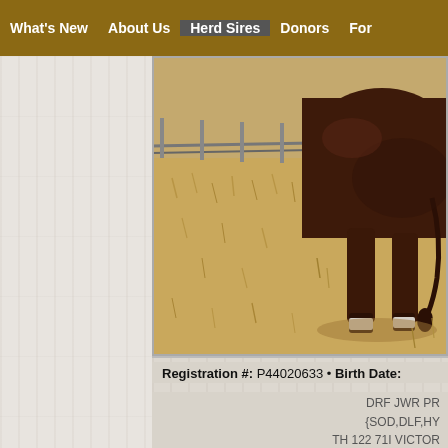What's New | About Us | Herd Sires | Donors | For
[Figure (photo): A dark brown/red Angus bull standing in a dry grass field, with a metal fence visible in background. Only the rear portion of the bull is visible, showing its hindquarters and legs.]
Registration #: P44020633 • Birth Date:
DRF JWR PR
{SOD,DLF,HY
TH 122 71I VICTOR
KBCR 19D DC